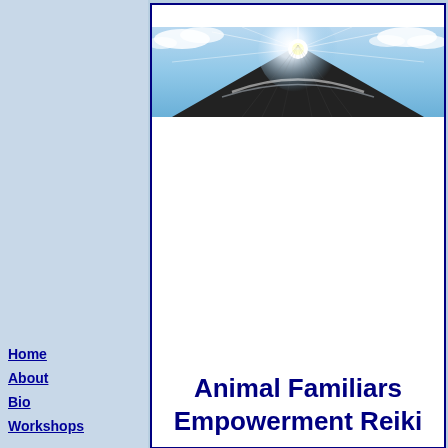[Figure (illustration): Website banner/header image showing a mountain peak with bright sunlight at the summit and a sky blue background with clouds. Dark mountain silhouette with light rays emanating from the top.]
Home
About
Bio
Workshops
Animal Familiars Empowerment Reiki